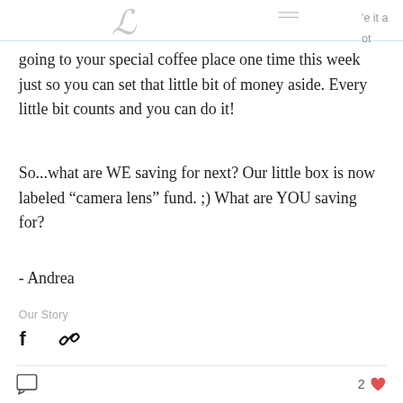e it a ot
going to your special coffee place one time this week just so you can set that little bit of money aside. Every little bit counts and you can do it!
So...what are WE saving for next? Our little box is now labeled “camera lens” fund. ;) What are YOU saving for?
- Andrea
Our Story
[Figure (infographic): Facebook share icon and chain link (copy link) icon]
2 likes, comment icon